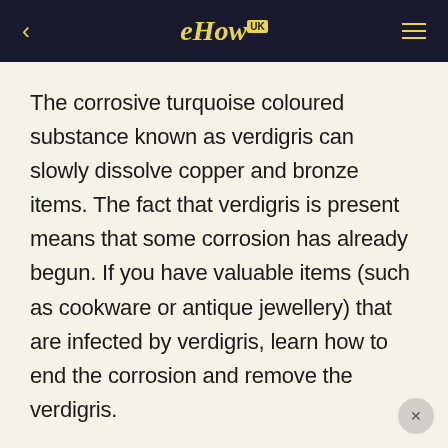eHow
The corrosive turquoise coloured substance known as verdigris can slowly dissolve copper and bronze items. The fact that verdigris is present means that some corrosion has already begun. If you have valuable items (such as cookware or antique jewellery) that are infected by verdigris, learn how to end the corrosion and remove the verdigris.